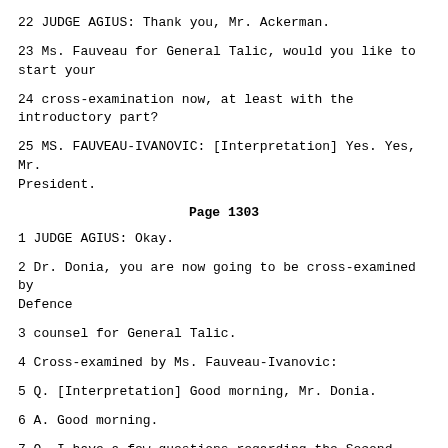22 JUDGE AGIUS: Thank you, Mr. Ackerman.
23 Ms. Fauveau for General Talic, would you like to start your
24 cross-examination now, at least with the introductory part?
25 MS. FAUVEAU-IVANOVIC: [Interpretation] Yes. Yes, Mr. President.
Page 1303
1 JUDGE AGIUS: Okay.
2 Dr. Donia, you are now going to be cross-examined by Defence
3 counsel for General Talic.
4 Cross-examined by Ms. Fauveau-Ivanovic:
5 Q. [Interpretation] Good morning, Mr. Donia.
6 A. Good morning.
7 Q. I have a few questions regarding the Second World War before I
8 come to the year 1992. Would you be in agreement that the Serb people in